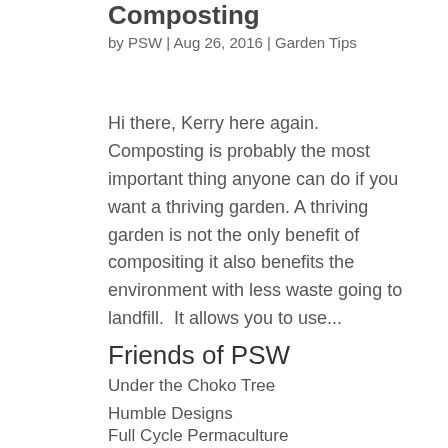Composting
by PSW | Aug 26, 2016 | Garden Tips
Hi there, Kerry here again.  Composting is probably the most important thing anyone can do if you want a thriving garden. A thriving garden is not the only benefit of compositing it also benefits the environment with less waste going to landfill.  It allows you to use...
Friends of PSW
Under the Choko Tree
Humble Designs
Full Cycle Permaculture
Brontee Bee Hive